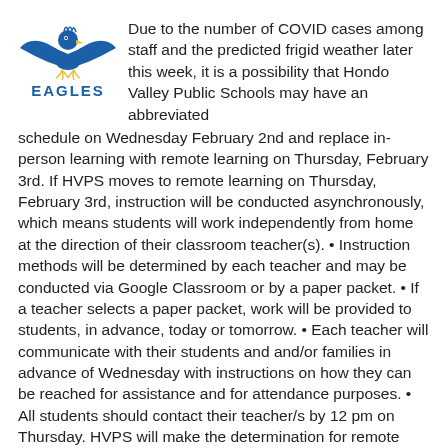[Figure (logo): Hondo Valley Eagles school logo — blue eagle mascot with 'EAGLES' text in blue]
Due to the number of COVID cases among staff and the predicted frigid weather later this week, it is a possibility that Hondo Valley Public Schools may have an abbreviated schedule on Wednesday February 2nd and replace in-person learning with remote learning on Thursday, February 3rd. If HVPS moves to remote learning on Thursday, February 3rd, instruction will be conducted asynchronously, which means students will work independently from home at the direction of their classroom teacher(s). • Instruction methods will be determined by each teacher and may be conducted via Google Classroom or by a paper packet. • If a teacher selects a paper packet, work will be provided to students, in advance, today or tomorrow. • Each teacher will communicate with their students and and/or families in advance of Wednesday with instructions on how they can be reached for assistance and for attendance purposes. • All students should contact their teacher/s by 12 pm on Thursday. HVPS will make the determination for remote learning by Wednesday at noon. Please go to the HVPS